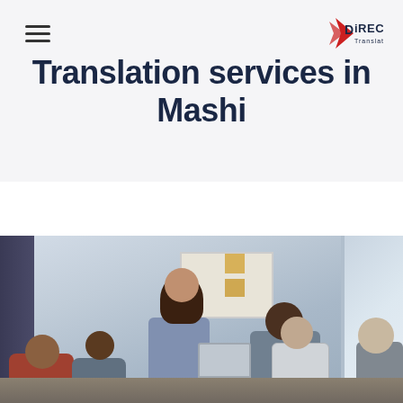DirectLine Translators — navigation menu icon
Translation services in Mashi
[Figure (photo): Group of diverse professionals in a modern office setting, one person standing and presenting while others are seated around a table, smiling and engaged in discussion.]